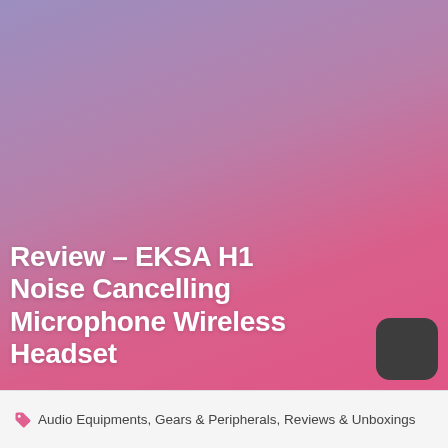[Figure (illustration): Gradient background transitioning from soft purple/lavender at the top to pink/magenta at the bottom, covering the upper portion of the page.]
Review – EKSA H1 Noise Cancelling Microphone Wireless Headset
[Figure (logo): Dark grey rounded square badge with a crescent moon icon (white), representing a night/dark mode icon.]
Audio Equipments, Gears & Peripherals, Reviews & Unboxings